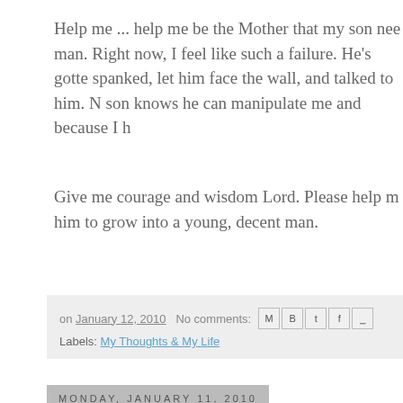Help me ... help me be the Mother that my son nee... man. Right now, I feel like such a failure. He's gotte... spanked, let him face the wall, and talked to him. N... son knows he can manipulate me and because I h...
Give me courage and wisdom Lord. Please help m... him to grow into a young, decent man.
on January 12, 2010   No comments:  [share icons]  Labels: My Thoughts & My Life
Monday, January 11, 2010
shaking at shakeys and some brotherly l...
[Figure (photo): Black and white photo of bare tree branches against a light background, partially visible at bottom right of page]